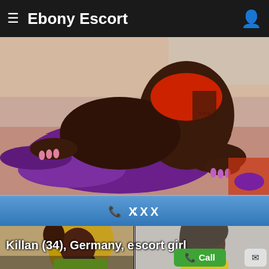≡ Ebony Escort
[Figure (photo): A Black woman in a red top and purple outfit/boots posing on the floor against a red-lit background]
📞 XXX
[Figure (photo): Two photos of a Black woman with blonde-streaked hair wearing a green mesh top, posing indoors]
Killan (34), Germany, escort girl